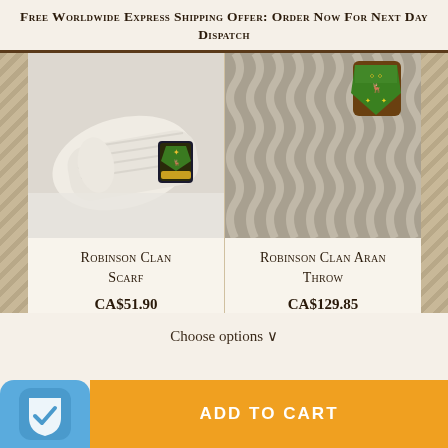Free Worldwide Express Shipping Offer: Order Now For Next Day Dispatch
[Figure (photo): Robinson Clan Scarf – cream/white knitted aran scarf rolled up with clan crest badge/pin on top, on white background]
[Figure (photo): Robinson Clan Aran Throw – close-up of grey/beige aran-knit throw with Robinson clan crest badge/pin visible at top]
Robinson Clan Scarf
CA$51.90
Robinson Clan Aran Throw
CA$129.85
Choose options ∨
ADD TO CART